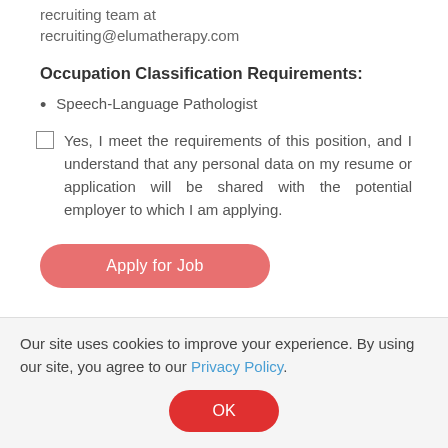recruiting team at recruiting@elumatherapy.com
Occupation Classification Requirements:
Speech-Language Pathologist
Yes, I meet the requirements of this position, and I understand that any personal data on my resume or application will be shared with the potential employer to which I am applying.
[Figure (other): Apply for Job button - a salmon/coral rounded rectangle button with white text]
Our site uses cookies to improve your experience. By using our site, you agree to our Privacy Policy.
[Figure (other): OK button - a red rounded rectangle button with white text]